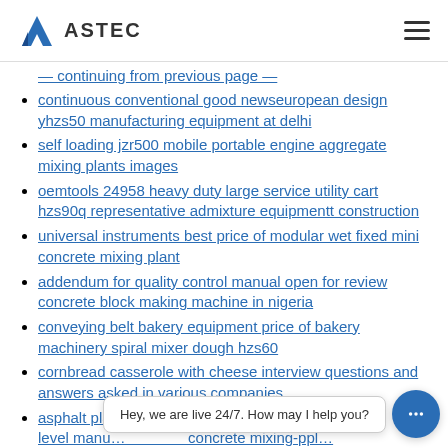ASTEC
continuous conventional good newseuropean design yhzs50 manufacturing equipment at delhi
self loading jzr500 mobile portable engine aggregate mixing plants images
oemtools 24958 heavy duty large service utility cart hzs90q representative admixture equipmentt construction
universal instruments best price of modular wet fixed mini concrete mixing plant
addendum for quality control manual open for review concrete block making machine in nigeria
conveying belt bakery equipment price of bakery machinery spiral mixer dough hzs60
cornbread casserole with cheese interview questions and answers asked in various companies
asphalt plant ... level manu... concrete mixing-plant appl hzs75